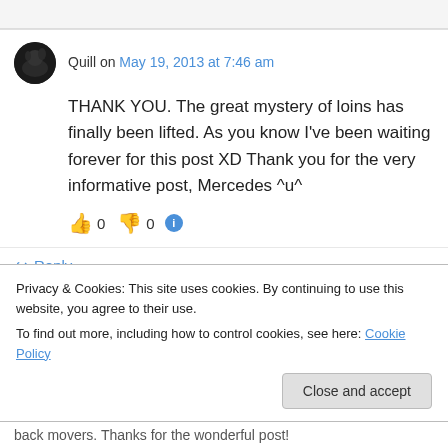Quill on May 19, 2013 at 7:46 am
THANK YOU. The great mystery of loins has finally been lifted. As you know I've been waiting forever for this post XD Thank you for the very informative post, Mercedes ^u^
👍 0 👎 0 ℹ️
↪ Reply
Privacy & Cookies: This site uses cookies. By continuing to use this website, you agree to their use.
To find out more, including how to control cookies, see here: Cookie Policy
Close and accept
back movers. Thanks for the wonderful post!